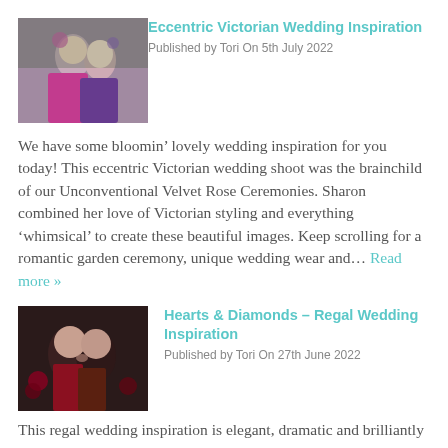[Figure (photo): Two women in colorful pink and floral dresses outdoors in a garden, facing each other closely]
Eccentric Victorian Wedding Inspiration
Published by Tori On 5th July 2022
We have some bloomin’ lovely wedding inspiration for you today! This eccentric Victorian wedding shoot was the brainchild of our Unconventional Velvet Rose Ceremonies. Sharon combined her love of Victorian styling and everything ‘whimsical’ to create these beautiful images. Keep scrolling for a romantic garden ceremony, unique wedding wear and… Read more »
[Figure (photo): Two people kissing, one in red, with floral decorations in dark moody lighting]
Hearts & Diamonds – Regal Wedding Inspiration
Published by Tori On 27th June 2022
This regal wedding inspiration is elegant, dramatic and brilliantly unconventional! You’re gonna love this gorgeous shoot, organised by